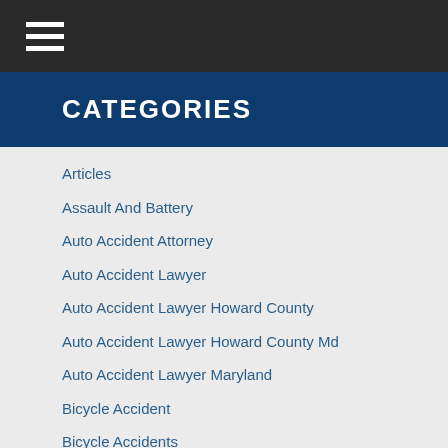≡
CATEGORIES
Articles
Assault And Battery
Auto Accident Attorney
Auto Accident Lawyer
Auto Accident Lawyer Howard County
Auto Accident Lawyer Howard County Md
Auto Accident Lawyer Maryland
Bicycle Accident
Bicycle Accidents
Brain Injuries